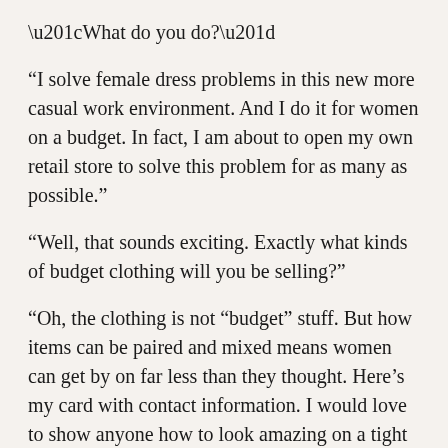“What do you do?”
“I solve female dress problems in this new more casual work environment. And I do it for women on a budget. In fact, I am about to open my own retail store to solve this problem for as many as possible.”
“Well, that sounds exciting. Exactly what kinds of budget clothing will you be selling?”
“Oh, the clothing is not “budget” stuff. But how items can be paired and mixed means women can get by on far less than they thought. Here’s my card with contact information. I would love to show anyone how to look amazing on a tight budget.”